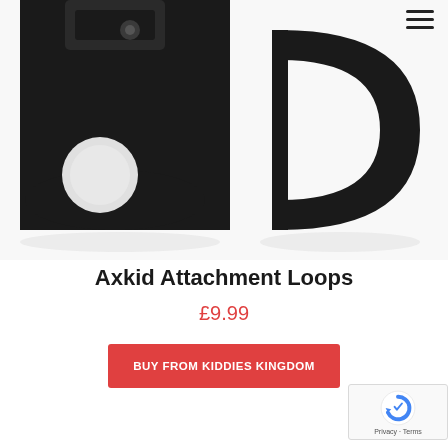[Figure (photo): Close-up product photo of two black metal Axkid attachment loops/D-rings against a white background. Left item shows a flat mounting bracket with a circular hole; right item shows a D-ring loop.]
Axkid Attachment Loops
£9.99
BUY FROM KIDDIES KINGDOM